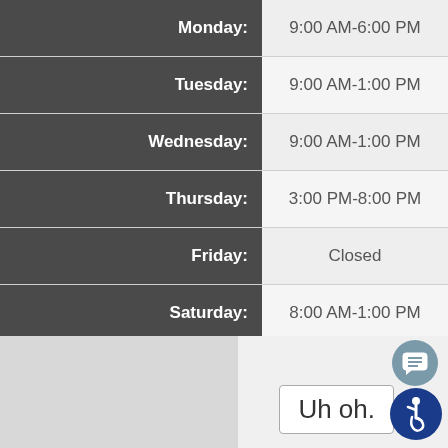| Day | Hours |
| --- | --- |
| Monday: | 9:00 AM-6:00 PM |
| Tuesday: | 9:00 AM-1:00 PM |
| Wednesday: | 9:00 AM-1:00 PM |
| Thursday: | 3:00 PM-8:00 PM |
| Friday: | Closed |
| Saturday: | 8:00 AM-1:00 PM |
| Sunday: |  |
Uh oh.